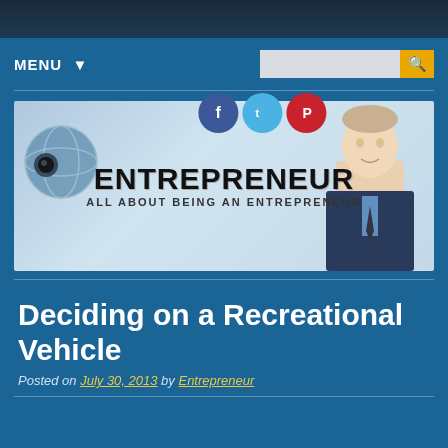MENU ▼
[Figure (screenshot): Entrepreneur blog banner with globe graphic, businessman silhouette, and social media icons (Facebook, Twitter, Pinterest). Text reads ENTREPRENEUR - ALL ABOUT BEING AN ENTREPRENEUR]
Deciding on a Recreational Vehicle
Posted on July 30, 2013 by Entrepreneur